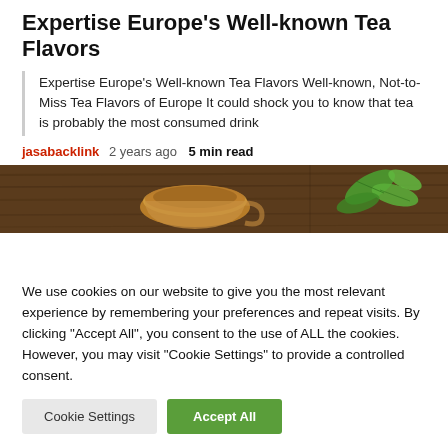Expertise Europe's Well-known Tea Flavors
Expertise Europe's Well-known Tea Flavors Well-known, Not-to-Miss Tea Flavors of Europe It could shock you to know that tea is probably the most consumed drink
jasabacklink  2 years ago  5 min read
[Figure (photo): Photo of a cup of tea and green mint leaves on a wooden surface]
We use cookies on our website to give you the most relevant experience by remembering your preferences and repeat visits. By clicking "Accept All", you consent to the use of ALL the cookies. However, you may visit "Cookie Settings" to provide a controlled consent.